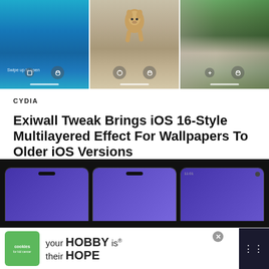[Figure (screenshot): Three mobile phone screenshots side by side showing wallpapers: ocean/water scene, a running dog, and a forest/mountain scene. Each phone shows lock screen UI with camera icon and home bar.]
CYDIA
Exiwall Tweak Brings iOS 16-Style Multilayered Effect For Wallpapers To Older iOS Versions
Even though we are still a few weeks away from the official release of iOS 16 to public,…
[Figure (screenshot): Dark background with three phone thumbnails showing purple/blue screens, partially visible at bottom of page.]
[Figure (screenshot): Advertisement banner: cookies for kid cancer logo with text 'your HOBBY is their HOPE']